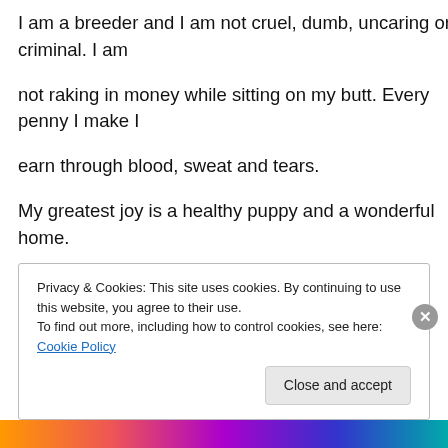I am a breeder and I am not cruel, dumb, uncaring or criminal. I am
not raking in money while sitting on my butt. Every penny I make I
earn through blood, sweat and tears.
My greatest joy is a healthy puppy and a wonderful home.
The cards of thanks and the pictures of
Privacy & Cookies: This site uses cookies. By continuing to use this website, you agree to their use.
To find out more, including how to control cookies, see here: Cookie Policy
Close and accept